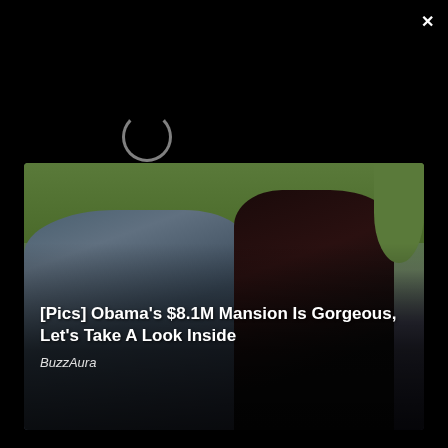[Figure (screenshot): Black top area with loading spinner and close X button, website screenshot overlay]
[Figure (photo): Photo of two people (Obama and Michelle) outdoors with trees in background, with overlay text: [Pics] Obama's $8.1M Mansion Is Gorgeous, Let's Take A Look Inside. Source: BuzzAura]
[Figure (photo): Photo of two people hugging at a TCM/TCL event against a step-and-repeat backdrop with TCM logo]